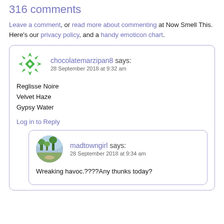316 comments
Leave a comment, or read more about commenting at Now Smell This. Here's our privacy policy, and a handy emoticon chart.
chocolatemarzipan8 says:
28 September 2018 at 9:32 am

Reglisse Noire
Velvet Haze
Gypsy Water

Log in to Reply
madtowngirl says:
28 September 2018 at 9:34 am

Wreaking havoc.????Any thunks today?